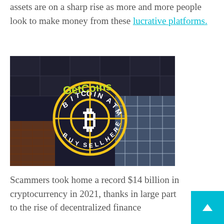assets are on a sharp rise as more and more people look to make money from these lucrative platforms.
[Figure (photo): Photo of a GetCoins Bitcoin ATM neon sign on a window showing 'Bitcoin ATM Buy Sell Here' with the Bitcoin logo in the center circle, yellow and white neon against a dark background.]
Scammers took home a record $14 billion in cryptocurrency in 2021, thanks in large part to the rise of decentralized finance